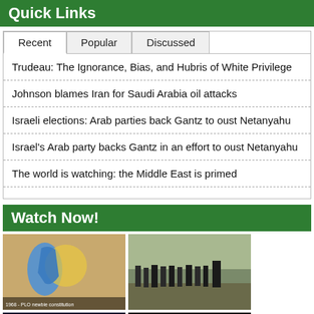Quick Links
Recent | Popular | Discussed
Trudeau: The Ignorance, Bias, and Hubris of White Privilege
Johnson blames Iran for Saudi Arabia oil attacks
Israeli elections: Arab parties back Gantz to oust Netanyahu
Israel's Arab party backs Gantz in an effort to oust Netanyahu
The world is watching: the Middle East is primed
Watch Now!
[Figure (photo): Map thumbnail showing Israel/Palestine region with blue and yellow areas, text: 1968 - PLO newbie constitution]
[Figure (photo): Military soldiers walking on a road]
[Figure (photo): Israeli-Palestinian Conflict video thumbnail with play button]
[Figure (photo): When Saturday Came video thumbnail with fire imagery]